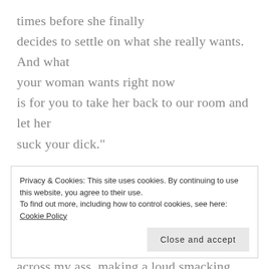times before she finally decides to settle on what she really wants. And what your woman wants right now is for you to take her back to our room and let her suck your dick."

With a muttered curse Devlin picked me up and tossed me over his shoulder. One big hand swatted across my ass, making a loud smacking sound as he hurried for the closest exit.
Privacy & Cookies: This site uses cookies. By continuing to use this website, you agree to their use. To find out more, including how to control cookies, see here: Cookie Policy